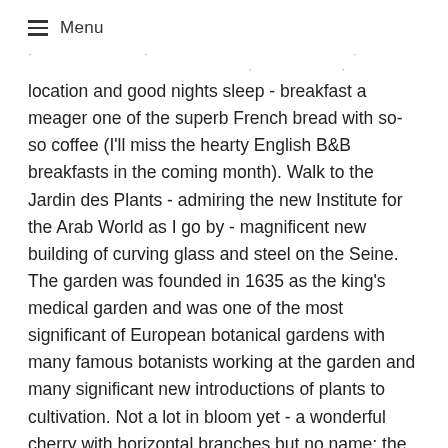≡ Menu
location and good nights sleep - breakfast a meager one of the superb French bread with so-so coffee (I'll miss the hearty English B&B breakfasts in the coming month). Walk to the Jardin des Plants - admiring the new Institute for the Arab World as I go by - magnificent new building of curving glass and steel on the Seine. The garden was founded in 1635 as the king's medical garden and was one of the most significant of European botanical gardens with many famous botanists working at the garden and many significant new introductions of plants to cultivation. Not a lot in bloom yet - a wonderful cherry with horizontal branches but no name; the alpine garden is locked up - unfortunate as it is probably the most interesting and best kept part of the garden with over 2,000 species in varied habitats. Go up the mount/maze for the first time with several interesting old plants; shocked that the old